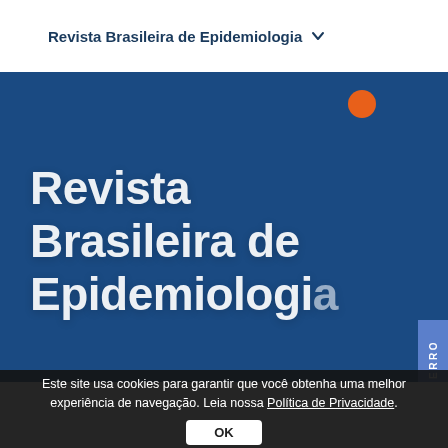Revista Brasileira de Epidemiologia
[Figure (logo): Blue banner with large white bold text reading 'Revista Brasileira de Epidemiologia', an orange dot in the upper right area, and a blue side tab with 'REPORTAR ERRO' rotated vertically on the right edge.]
Este site usa cookies para garantir que você obtenha uma melhor experiência de navegação. Leia nossa Política de Privacidade.
OK